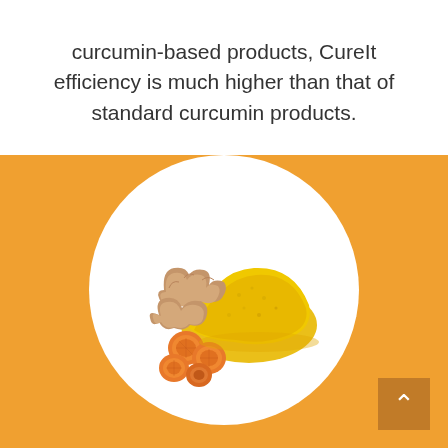curcumin-based products, CureIt efficiency is much higher than that of standard curcumin products.
[Figure (photo): Photo of turmeric root pieces, sliced turmeric rounds, and a mound of golden-yellow turmeric powder displayed on a white circular background set against an orange background.]